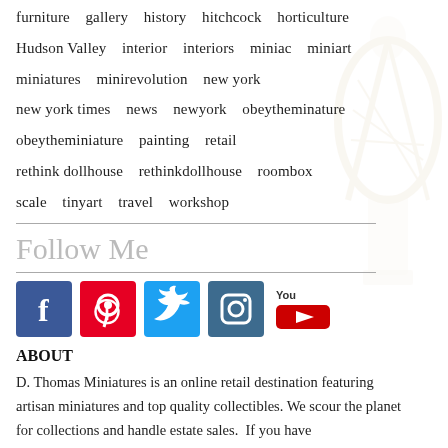furniture   gallery   history   hitchcock   horticulture
Hudson Valley   interior   interiors   miniac   miniart
miniatures   minirevolution   new york
new york times   news   newyork   obeytheminature
obeytheminiature   painting   retail
rethink dollhouse   rethinkdollhouse   roombox
scale   tinyart   travel   workshop
Follow Me
[Figure (infographic): Social media icons: Facebook, Pinterest, Twitter, Instagram, YouTube]
ABOUT
D. Thomas Miniatures is an online retail destination featuring artisan miniatures and top quality collectibles. We scour the planet for collections and handle estate sales.  If you have